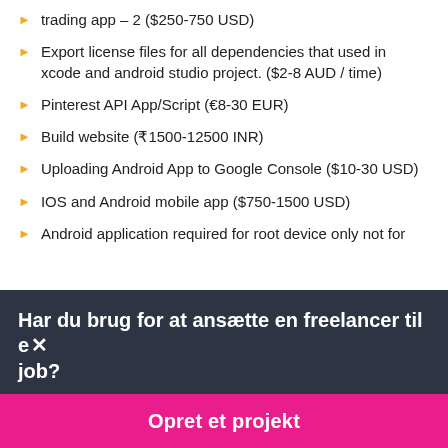trading app – 2 ($250-750 USD)
Export license files for all dependencies that used in xcode and android studio project. ($2-8 AUD / time)
Pinterest API App/Script (€8-30 EUR)
Build website (₹1500-12500 INR)
Uploading Android App to Google Console ($10-30 USD)
IOS and Android mobile app ($750-1500 USD)
Android application required for root device only not for ...
Har du brug for at ansætte en freelancer til et job?
Opret et projekt